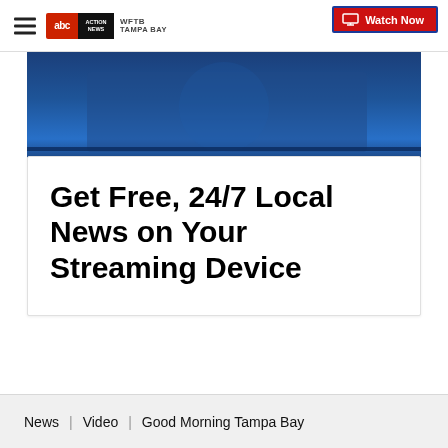WFTB Tampa Bay ABC Action News — Watch Now
[Figure (screenshot): Blue gradient banner image — ABC Action News hero graphic]
Get Free, 24/7 Local News on Your Streaming Device
News   Video   Good Morning Tampa Bay